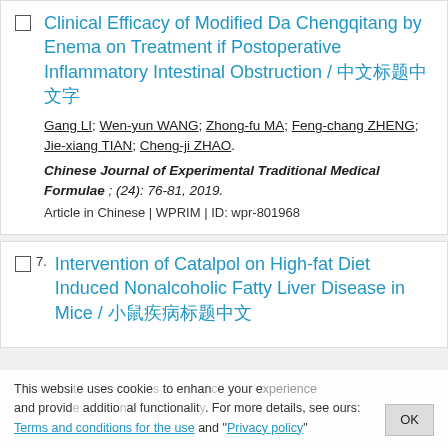Clinical Efficacy of Modified Da Chengqitang by Enema on Treatment if Postoperative Inflammatory Intestinal Obstruction / 彩色图片标题
Gang LI; Wen-yun WANG; Zhong-fu MA; Feng-chang ZHENG; Jie-xiang TIAN; Cheng-ji ZHAO.
Chinese Journal of Experimental Traditional Medical Formulae ; (24): 76-81, 2019.
Article in Chinese | WPRIM | ID: wpr-801968
Intervention of Catalpol on High-fat Diet Induced Nonalcoholic Fatty Liver Disease in Mice / 中文标题
This website uses cookies to enhance your experience and provide additional functionality. For more details, see ours: Terms and conditions for the use and Privacy policy